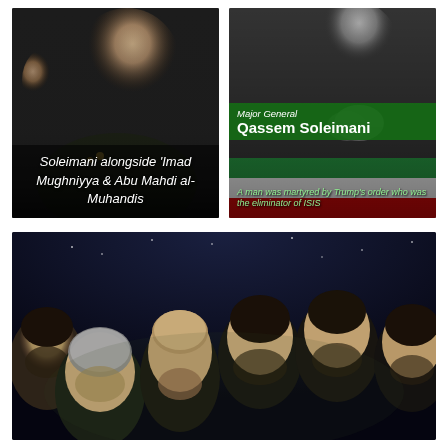[Figure (photo): Photo of Soleimani in military uniform alongside other figures, with white italic text overlay reading: Soleimani alongside ‘Imad Mughniyya & Abu Mahdi al-Muhandis]
[Figure (photo): Black and white photo of a man with hands clasped in prayer, overlaid with green banner text reading: Major General Qassem Soleimani. Subtitle text: A man was martyred by Trump’s order who was the eliminator of ISIS]
[Figure (illustration): Digital illustration/painting of a group of men with dark hair in military-style clothing, depicted in a dark starry night setting. Artistic memorial-style image.]